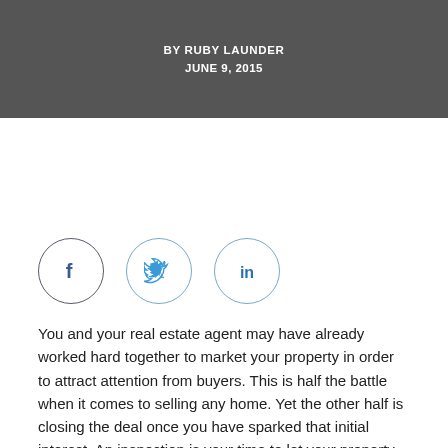BY RUBY LAUNDER
JUNE 9, 2015
[Figure (infographic): Social media sharing icons: Facebook (f), Twitter (bird), LinkedIn (in), each inside a circle outline]
You and your real estate agent may have already worked hard together to market your property in order to attract attention from buyers. This is half the battle when it comes to selling any home. Yet the other half is closing the deal once you have sparked that initial interest. An inspection is your time to let your property shine. When showing your property, it's best to keep three primary goals in mind. To begin with, you'll want to give them a great first impression of the home. Secondly, you'll want to ensure